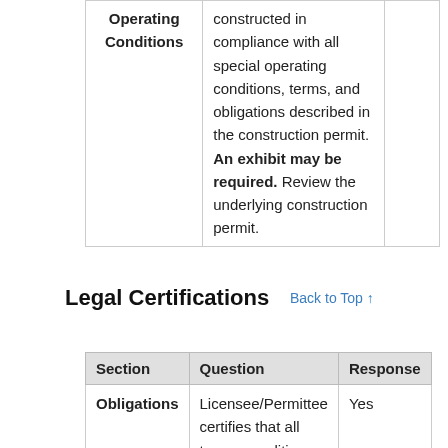| Section | Question | Response |
| --- | --- | --- |
| Operating Conditions | constructed in compliance with all special operating conditions, terms, and obligations described in the construction permit. An exhibit may be required. Review the underlying construction permit. |  |
Legal Certifications
Back to Top ↑
| Section | Question | Response |
| --- | --- | --- |
| Obligations | Licensee/Permittee certifies that all terms, conditions, and obligations set forth | Yes |